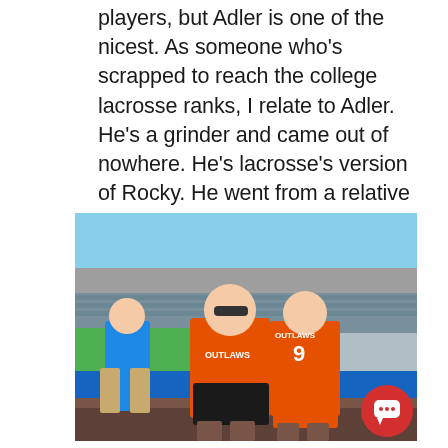players, but Adler is one of the nicest. As someone who's scrapped to reach the college lacrosse ranks, I relate to Adler. He's a grinder and came out of nowhere. He's lacrosse's version of Rocky. He went from a relative unknown to a premier faceoff specialist.
[Figure (photo): Two men posing together in a stadium (appears to be an NFL stadium). One man is wearing an orange Outlaws t-shirt and sunglasses, the other is wearing an orange Outlaws #9 jersey. A third person in a blue shirt stands in the background. A red chat button overlay appears in the bottom right.]